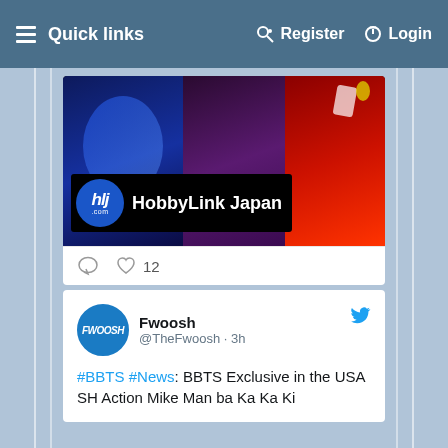Quick links   Register   Login
[Figure (photo): HobbyLink Japan banner advertisement showing action figures with blue, purple, and red colored figures. Features hlj.com logo and HobbyLink Japan text.]
12
Fwoosh @TheFwoosh · 3h
#BBTS #News: BBTS Exclusive in the USA SH Action Mike Man ba Ka Ka Ki...